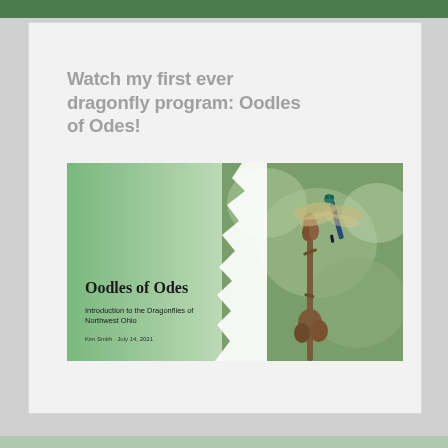Watch my first ever dragonfly program: Oodles of Odes!
[Figure (photo): Slide thumbnail for 'Oodles of Odes' presentation — Introduction to the Dragonflies of Northwest Ohio, by Kim Smith, July 14, 2021. Left side is green gradient background with title text; right side shows a close-up photograph of a blue-bodied dragonfly perched on a dried seed stalk against a blurred green background.]